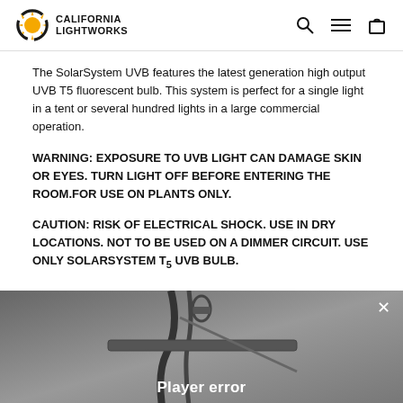California Lightworks
The SolarSystem UVB features the latest generation high output UVB T5 fluorescent bulb. This system is perfect for a single light in a tent or several hundred lights in a large commercial operation.
WARNING: EXPOSURE TO UVB LIGHT CAN DAMAGE SKIN OR EYES. TURN LIGHT OFF BEFORE ENTERING THE ROOM.FOR USE ON PLANTS ONLY.
CAUTION: RISK OF ELECTRICAL SHOCK. USE IN DRY LOCATIONS. NOT TO BE USED ON A DIMMER CIRCUIT. USE ONLY SOLARSYSTEM T5 UVB BULB.
[Figure (photo): Black and white photo of a light fixture hanging with cables, overlaid with a 'Player error' message and a close (X) button.]